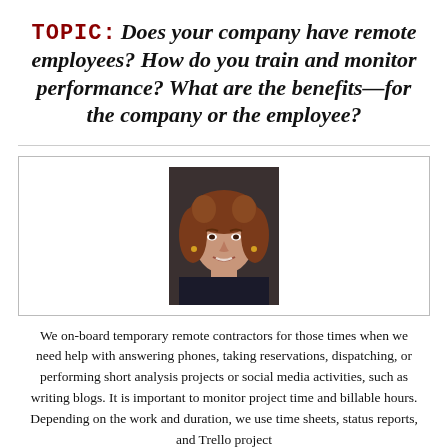TOPIC: Does your company have remote employees? How do you train and monitor performance? What are the benefits—for the company or the employee?
[Figure (photo): Headshot photo of a woman with curly reddish-brown hair, smiling, wearing a dark top, displayed inside a bordered card.]
We on-board temporary remote contractors for those times when we need help with answering phones, taking reservations, dispatching, or performing short analysis projects or social media activities, such as writing blogs. It is important to monitor project time and billable hours. Depending on the work and duration, we use time sheets, status reports, and Trello project